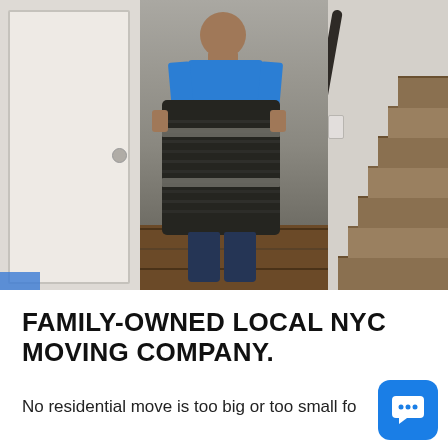[Figure (photo): A man in a blue shirt carrying a large wrapped item (furniture wrapped in moving blankets with straps) through a doorway in a house. Staircase visible on the right, white door on the left, hardwood floor.]
FAMILY-OWNED LOCAL NYC MOVING COMPANY.
No residential move is too big or too small fo